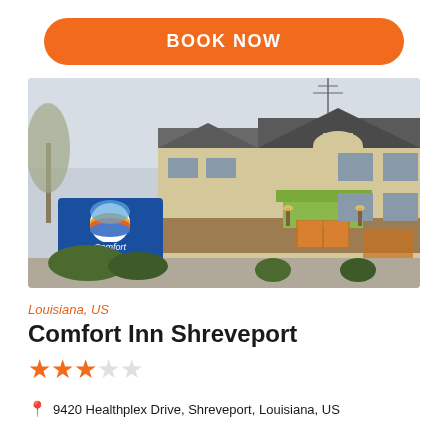BOOK NOW
[Figure (photo): Exterior photo of Comfort Inn Shreveport hotel building with Comfort Inn sign visible in foreground, showing a two-story tan and brown hotel with green canopy entrance, bare trees and shrubs.]
Louisiana, US
Comfort Inn Shreveport
★★★☆☆ (3 out of 5 stars)
📍 9420 Healthplex Drive, Shreveport, Louisiana, US